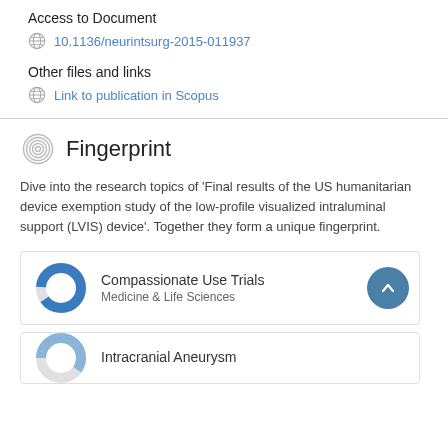Access to Document
10.1136/neurintsurg-2015-011937
Other files and links
Link to publication in Scopus
Fingerprint
Dive into the research topics of 'Final results of the US humanitarian device exemption study of the low-profile visualized intraluminal support (LVIS) device'. Together they form a unique fingerprint.
Compassionate Use Trials
Medicine & Life Sciences
Intracranial Aneurysm